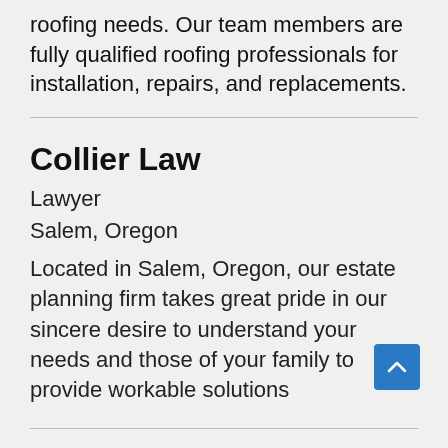roofing needs. Our team members are fully qualified roofing professionals for installation, repairs, and replacements.
Collier Law
Lawyer
Salem, Oregon
Located in Salem, Oregon, our estate planning firm takes great pride in our sincere desire to understand your needs and those of your family to provide workable solutions
Impressive Digital